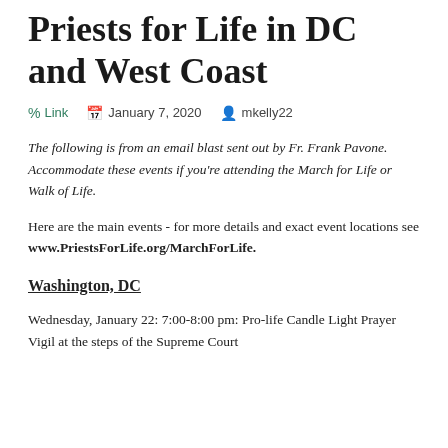Priests for Life in DC and West Coast
Link  January 7, 2020  mkelly22
The following is from an email blast sent out by Fr. Frank Pavone. Accommodate these events if you're attending the March for Life or Walk of Life.
Here are the main events - for more details and exact event locations see www.PriestsForLife.org/MarchForLife.
Washington, DC
Wednesday, January 22: 7:00-8:00 pm: Pro-life Candle Light Prayer Vigil at the steps of the Supreme Court